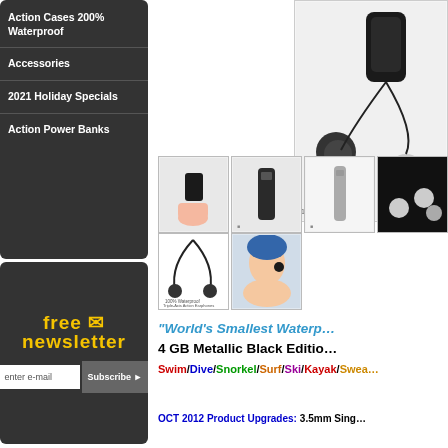Action Cases 200% Waterproof
Accessories
2021 Holiday Specials
Action Power Banks
[Figure (other): Free Newsletter signup box with yellow text and email subscribe button]
[Figure (photo): Main product photo - black waterproof earphones/MP3 player device close-up]
[Figure (photo): Thumbnail grid of product photos: hand holding device, front view, side view, earphones display, cable with earbuds, swimmer wearing device]
"World's Smallest Waterp...
4 GB Metallic Black Editio...
Swim/Dive/Snorkel/Surf/Ski/Kayak/Sweat...
OCT 2012 Product Upgrades: 3.5mm Sing...